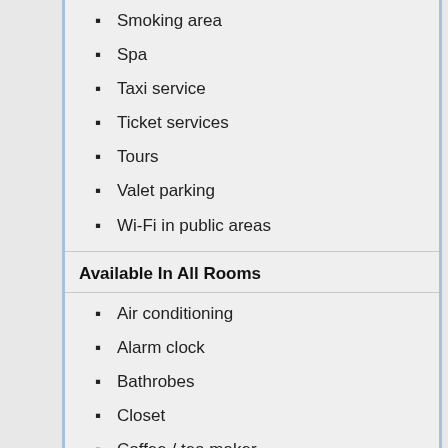Smoking area
Spa
Taxi service
Ticket services
Tours
Valet parking
Wi-Fi in public areas
Available In All Rooms
Air conditioning
Alarm clock
Bathrobes
Closet
Coffee / tea maker
Hair dryer